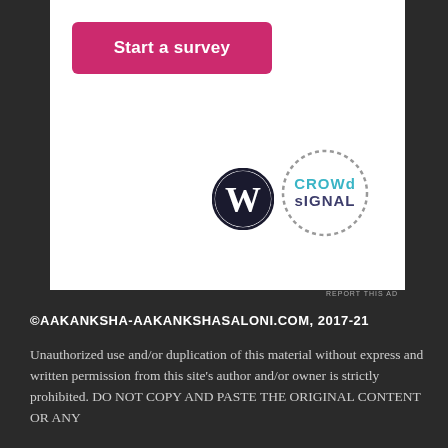[Figure (screenshot): White card area with a pink 'Start a survey' button, WordPress logo, and CrowdSignal logo]
REPORT THIS AD
©AAKANKSHA-AAKANKSHASALONI.COM, 2017-21
Unauthorized use and/or duplication of this material without express and written permission from this site's author and/or owner is strictly prohibited. DO NOT COPY AND PASTE THE ORIGINAL CONTENT OR ANY